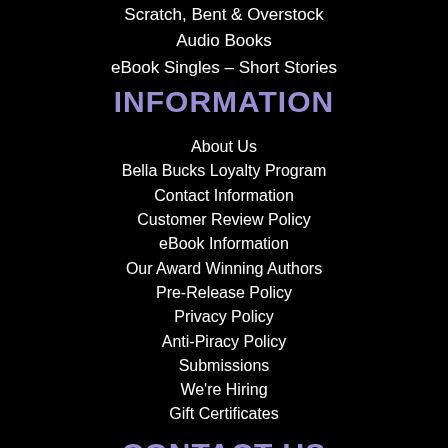Scratch, Bent & Overstock
Audio Books
eBook Singles – Short Stories
INFORMATION
About Us
Bella Bucks Loyalty Program
Contact Information
Customer Review Policy
eBook Information
Our Award Winning Authors
Pre-Release Policy
Privacy Policy
Anti-Piracy Policy
Submissions
We're Hiring
Gift Certificates
CONTACT US